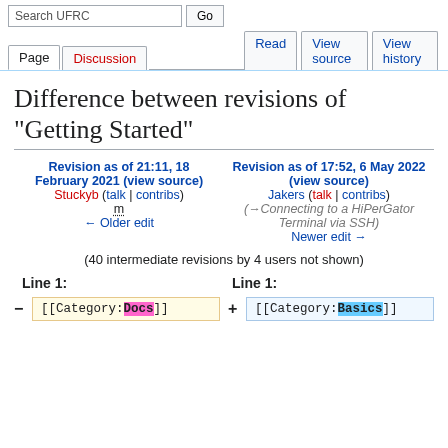Search UFRC | Go | Page | Discussion | Read | View source | View history
Difference between revisions of "Getting Started"
Revision as of 21:11, 18 February 2021 (view source)
Stuckyb (talk | contribs)
m
← Older edit
Revision as of 17:52, 6 May 2022 (view source)
Jakers (talk | contribs)
(→Connecting to a HiPerGator Terminal via SSH)
Newer edit →
(40 intermediate revisions by 4 users not shown)
Line 1:
Line 1:
− [[Category:Docs]]
+ [[Category:Basics]]